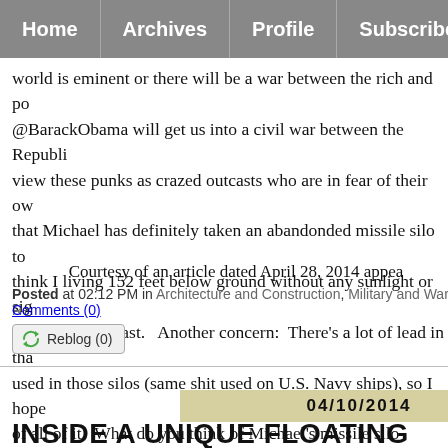Home | Archives | Profile | Subscribe
world is eminent or there will be a war between the rich and po @BarackObama will get us into a civil war between the Republi view these punks as crazed outcasts who are in fear of their ow that Michael has definitely taken an abandonded missile silo to think I living 152 feet below ground without any sunlight or sig me crazy very fast.   Another concern:  There's a lot of lead in tha used in those silos (same shit used on U.S. Navy ships), so I hope of all of it.  What do you think of Michael's missile silo home?
Courtesy of an article dated April 28, 2014 appea
Posted at 02:12 PM in Architecture and Construction, Military and Wars, Re Comments (0)
[Figure (other): Reblog (0) button with recycling arrows icon]
04/10/2014
INSIDE A UNIQUE FLOATING HOME F PORTLAND THAT TAKES ITS CURVES